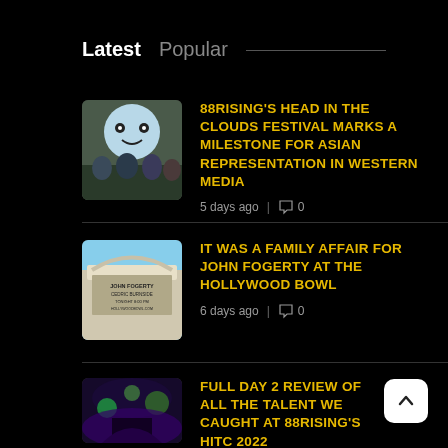Latest   Popular
88RISING'S HEAD IN THE CLOUDS FESTIVAL MARKS A MILESTONE FOR ASIAN REPRESENTATION IN WESTERN MEDIA
5 days ago | 💬 0
IT WAS A FAMILY AFFAIR FOR JOHN FOGERTY AT THE HOLLYWOOD BOWL
6 days ago | 💬 0
FULL DAY 2 REVIEW OF ALL THE TALENT WE CAUGHT AT 88RISING'S HITC 2022